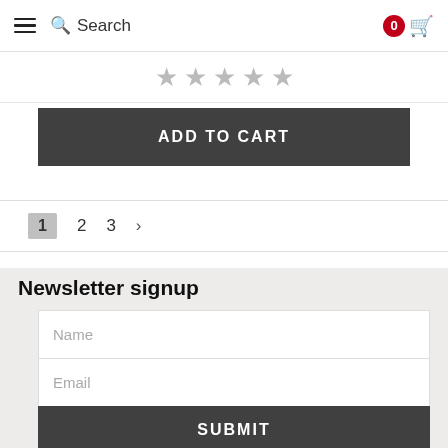Search  0
[Figure (other): Five star rating icons (empty/grey stars)]
ADD TO CART
1  2  3  >
Newsletter signup
Name
Email
SUBMIT
Further info
FAQ